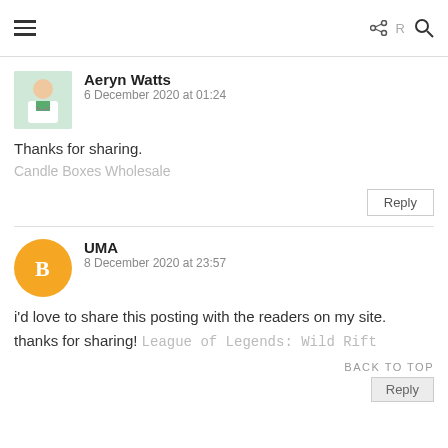Aeryn Watts
6 December 2020 at 01:24

Thanks for sharing.
Candle Boxes Wholesale
Reply
UMA
8 December 2020 at 23:57

i'd love to share this posting with the readers on my site. thanks for sharing! League of Legends: Wild Rift
BACK TO TOP
Reply